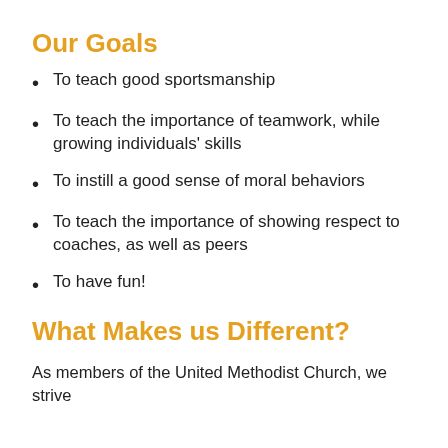Our Goals
To teach good sportsmanship
To teach the importance of teamwork, while growing individuals' skills
To instill a good sense of moral behaviors
To teach the importance of showing respect to coaches, as well as peers
To have fun!
What Makes us Different?
As members of the United Methodist Church, we strive